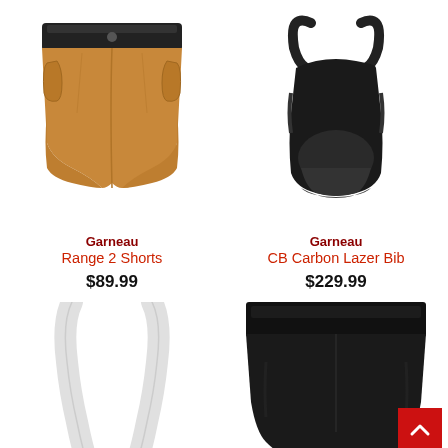[Figure (photo): Garneau Range 2 Shorts — tan/brown cycling shorts with black waistband, front button, side pockets]
Garneau
Range 2 Shorts
$89.99
[Figure (photo): Garneau CB Carbon Lazer Bib — black bib shorts with shoulder straps, cutout back design]
Garneau
CB Carbon Lazer Bib
$229.99
[Figure (photo): Partial view of white bib shorts straps, bottom row left]
[Figure (photo): Partial view of black cycling shorts/tights, bottom row right]